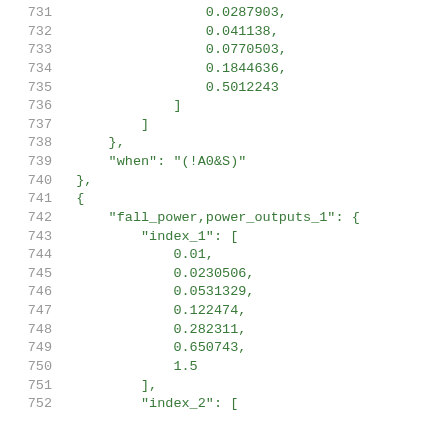731    0.0287903,
732    0.041138,
733    0.0770503,
734    0.1844636,
735    0.5012243
736    ]
737    ]
738    },
739    "when": "(!A0&S)"
740    },
741    {
742    "fall_power,power_outputs_1": {
743    "index_1": [
744    0.01,
745    0.0230506,
746    0.0531329,
747    0.122474,
748    0.282311,
749    0.650743,
750    1.5
751    ],
752    "index_2": [